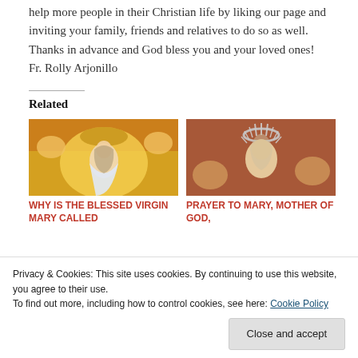help more people in their Christian life by liking our page and inviting your family, friends and relatives to do so as well. Thanks in advance and God bless you and your loved ones! Fr. Rolly Arjonillo
Related
[Figure (photo): Religious painting of the Blessed Virgin Mary with angels, yellow and red background]
WHY IS THE BLESSED VIRGIN MARY CALLED
[Figure (photo): Statue of Mary, Mother of God with silver crown and cherubs]
PRAYER TO MARY, MOTHER OF GOD,
Privacy & Cookies: This site uses cookies. By continuing to use this website, you agree to their use.
To find out more, including how to control cookies, see here: Cookie Policy